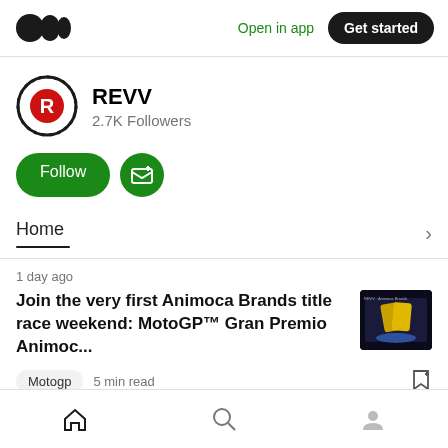Medium logo | Open in app | Get started
REVV
2.7K Followers
Follow | Subscribe button
Home
1 day ago
Join the very first Animoca Brands title race weekend: MotoGP™ Gran Premio Animoc...
Motogp  5 min read
Home | Search | Profile